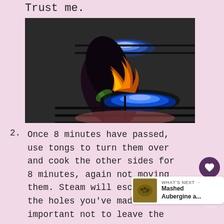Trust me.
[Figure (photo): An aubergine/eggplant being roasted directly on a gas hob burner with blue and orange flames visible beneath it on a dark metal grate.]
2. Once 8 minutes have passed, use tongs to turn them over and cook the other sides for 8 minutes, again not moving them. Steam will escape the holes you've made. important not to leave the